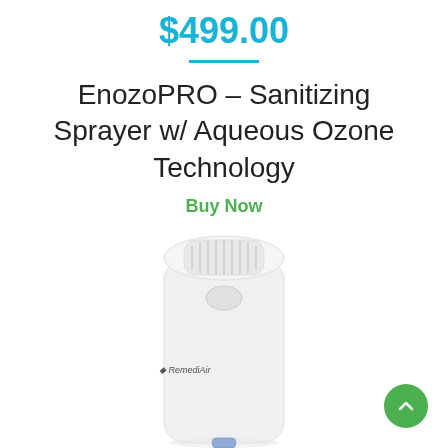$499.00
EnozoPRO – Sanitizing Sprayer w/ Aqueous Ozone Technology
Buy Now
[Figure (photo): White tower-shaped sanitizing sprayer device with RemediAir branding, shown on white background]